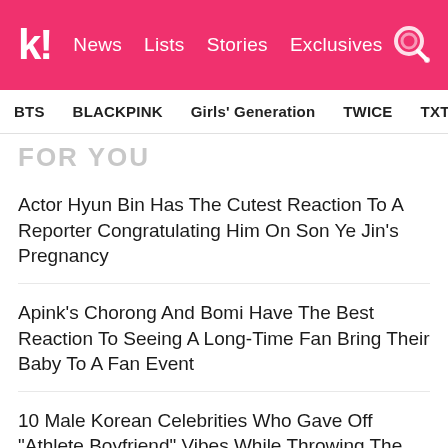koreaboo — News | Lists | Stories | Exclusives
BTS | BLACKPINK | Girls' Generation | TWICE | TXT | SEVE
FOR YOU
Actor Hyun Bin Has The Cutest Reaction To A Reporter Congratulating Him On Son Ye Jin's Pregnancy
Apink's Chorong And Bomi Have The Best Reaction To Seeing A Long-Time Fan Bring Their Baby To A Fan Event
10 Male Korean Celebrities Who Gave Off "Athlete Boyfriend" Vibes While Throwing The First Pitch In Baseball Games
"Extraordinary Attorney Woo" Confirms Production Of Season 2
WINNER's Kang Seungyoon Spotted With Rumored Girlfriend, YG Entertainment Actress Moon Ji Hyo